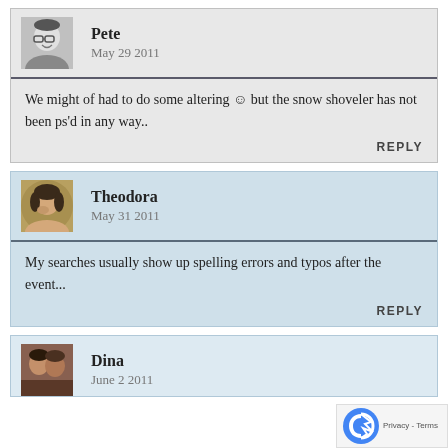[Figure (photo): Avatar photo of Pete, a man with glasses, black and white photo]
Pete
May 29 2011
We might of had to do some altering ☺ but the snow shoveler has not been ps'd in any way..
REPLY
[Figure (photo): Avatar photo of Theodora, a woman with dark hair resting her chin on her hand]
Theodora
May 31 2011
My searches usually show up spelling errors and typos after the event...
REPLY
[Figure (photo): Avatar photo of Dina, a couple photo]
Dina
June 2 2011